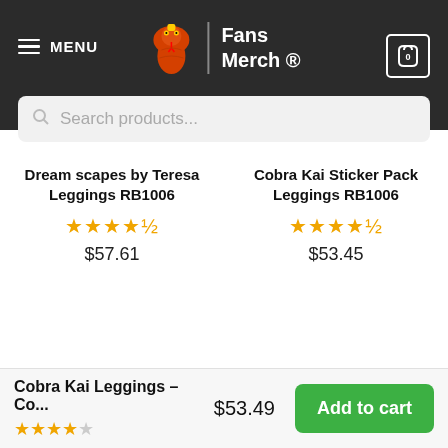MENU | Fans Merch ® | 0
Search products...
Dream scapes by Teresa Leggings RB1006
★★★★½
$57.61
Cobra Kai Sticker Pack Leggings RB1006
★★★★½
$53.45
Cobra Kai Leggings – Co...
★★★★☆
$53.49
Add to cart